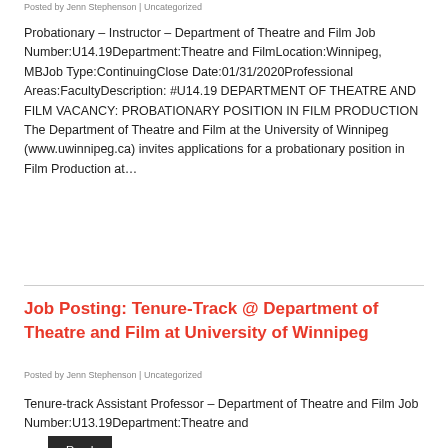Posted by Jenn Stephenson | Uncategorized
Probationary – Instructor – Department of Theatre and Film Job Number:U14.19Department:Theatre and FilmLocation:Winnipeg, MBJob Type:ContinuingClose Date:01/31/2020Professional Areas:FacultyDescription: #U14.19 DEPARTMENT OF THEATRE AND FILM VACANCY: PROBATIONARY POSITION IN FILM PRODUCTION The Department of Theatre and Film at the University of Winnipeg (www.uwinnipeg.ca) invites applications for a probationary position in Film Production at…
Read More
Job Posting: Tenure-Track @ Department of Theatre and Film at University of Winnipeg
Posted by Jenn Stephenson | Uncategorized
Tenure-track Assistant Professor – Department of Theatre and Film Job Number:U13.19Department:Theatre and